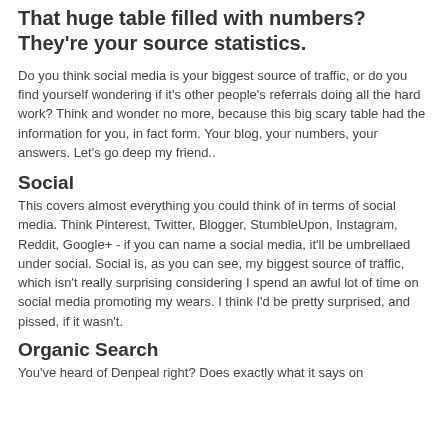That huge table filled with numbers? They're your source statistics.
Do you think social media is your biggest source of traffic, or do you find yourself wondering if it's other people's referrals doing all the hard work? Think and wonder no more, because this big scary table had the information for you, in fact form. Your blog, your numbers, your answers. Let's go deep my friend..
Social
This covers almost everything you could think of in terms of social media. Think Pinterest, Twitter, Blogger, StumbleUpon, Instagram, Reddit, Google+ - if you can name a social media, it'll be umbrellaed under social. Social is, as you can see, my biggest source of traffic, which isn't really surprising considering I spend an awful lot of time on social media promoting my wears. I think I'd be pretty surprised, and pissed, if it wasn't.
Organic Search
You've heard of Denpeal right? Does exactly what it says on